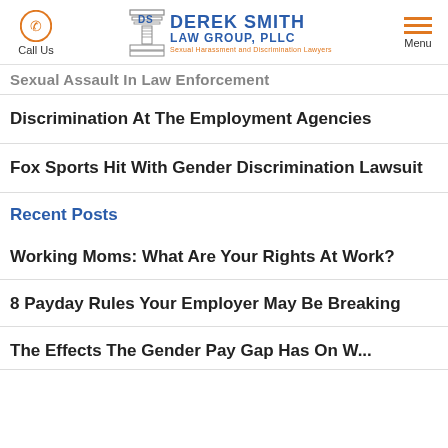Call Us | Derek Smith Law Group, PLLC | Menu
Sexual Assault In Law Enforcement
Discrimination At The Employment Agencies
Fox Sports Hit With Gender Discrimination Lawsuit
Recent Posts
Working Moms: What Are Your Rights At Work?
8 Payday Rules Your Employer May Be Breaking
The Effects The Gender Pay Gap Has On Women...